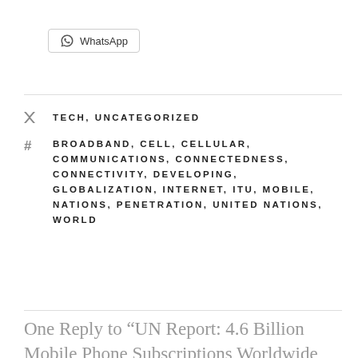[Figure (logo): WhatsApp share button with WhatsApp logo icon]
TECH, UNCATEGORIZED
BROADBAND, CELL, CELLULAR, COMMUNICATIONS, CONNECTEDNESS, CONNECTIVITY, DEVELOPING, GLOBALIZATION, INTERNET, ITU, MOBILE, NATIONS, PENETRATION, UNITED NATIONS, WORLD
One Reply to “UN Report: 4.6 Billion Mobile Phone Subscriptions Worldwide, Cell Penetration Doubles in Developing Countries”